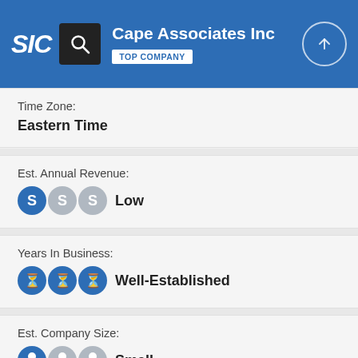SIC | Cape Associates Inc | TOP COMPANY
Time Zone:
Eastern Time
Est. Annual Revenue:
Low
Years In Business:
Well-Established
Est. Company Size:
Small
City Size: